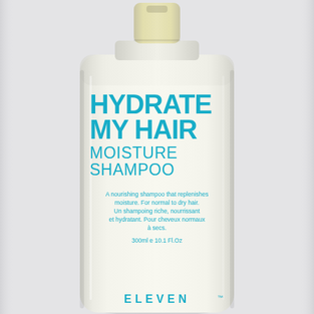[Figure (photo): A cream/beige colored shampoo bottle (Eleven Australia 'Hydrate My Hair Moisture Shampoo') with a pale yellow cap, displayed against a light grey background. The bottle label reads: HYDRATE MY HAIR MOISTURE SHAMPOO in large teal bold text, followed by a bilingual description 'A nourishing shampoo that replenishes moisture. For normal to dry hair. Un shampoing riche, nourrissant et hydratant. Pour cheveux normaux à secs.' and the volume '300ml e 10.1 Fl.Oz'. The ELEVEN brand logo appears at the bottom of the bottle.]